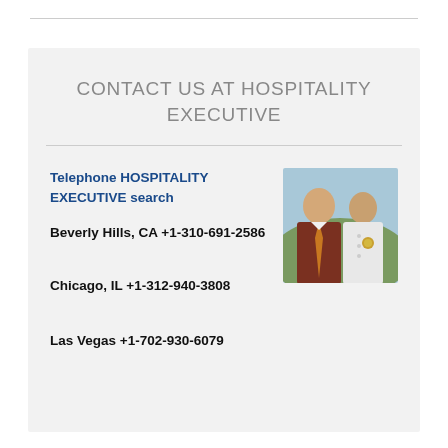CONTACT US AT HOSPITALITY EXECUTIVE
Telephone HOSPITALITY EXECUTIVE search
Beverly Hills, CA +1-310-691-2586
[Figure (photo): Two men in professional attire, one in a suit with orange tie, one in a white chef's coat]
Chicago, IL +1-312-940-3808
Las Vegas +1-702-930-6079